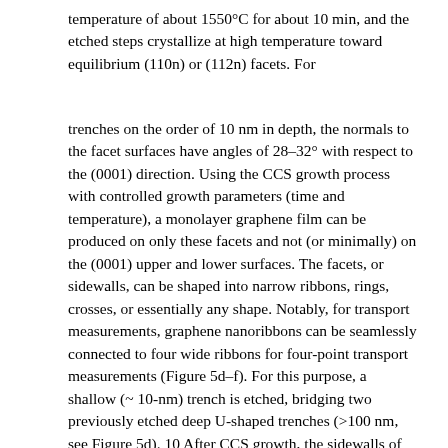temperature of about 1550°C for about 10 min, and the etched steps crystallize at high temperature toward equilibrium (110n) or (112n) facets. For
trenches on the order of 10 nm in depth, the normals to the facet surfaces have angles of 28–32° with respect to the (0001) direction. Using the CCS growth process with controlled growth parameters (time and temperature), a monolayer graphene film can be produced on only these facets and not (or minimally) on the (0001) upper and lower surfaces. The facets, or sidewalls, can be shaped into narrow ribbons, rings, crosses, or essentially any shape. Notably, for transport measurements, graphene nanoribbons can be seamlessly connected to four wide ribbons for four-point transport measurements (Figure 5d–f). For this purpose, a shallow (~ 10-nm) trench is etched, bridging two previously etched deep U-shaped trenches (>100 nm, see Figure 5d). 10 After CCS growth, the sidewalls of the U trenches form the broad graphene leads for the two narrow graphene sidewall ribbons between the U's (Figure 5e–f). Metal contacts are provided to the wide graphene leads for transport measurements of the narrow graphene ribbons. Gate structures can be subsequently patterned on top of the sidewall ribbon. Further examples of structured